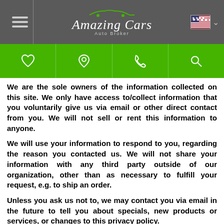[Figure (logo): Amazing Cars Auto Broker logo with hamburger menu and US flag in gray header bar]
[Figure (infographic): Green navigation bar with heart, location pin, phone, and search icons]
We are the sole owners of the information collected on this site. We only have access to/collect information that you voluntarily give us via email or other direct contact from you. We will not sell or rent this information to anyone.
We will use your information to respond to you, regarding the reason you contacted us. We will not share your information with any third party outside of our organization, other than as necessary to fulfill your request, e.g. to ship an order.
Unless you ask us not to, we may contact you via email in the future to tell you about specials, new products or services, or changes to this privacy policy.
Your Access to and Control Over Information
You may opt out of any future contacts from us at any time. You can do the following at any time by contacting us via the email address or phone number given on our website: